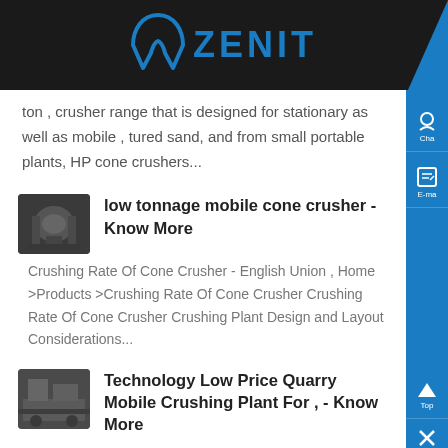[Figure (logo): Zenit company logo with blue arch icon and blue ZENIT text on dark background]
ton , crusher range that is designed for stationary as well as mobile , tured sand, and from small portable plants, HP cone crushers...
[Figure (photo): Small thumbnail image of a cone crusher machine]
low tonnage mobile cone crusher - Know More
Crushing Rate Of Cone Crusher - English Union , Home >Products >Crushing Rate Of Cone Crusher Crushing Rate Of Cone Crusher Crushing Plant Design and Layout Considerations...
[Figure (photo): Small thumbnail image of quarry mobile crushing plant]
Technology Low Price Quarry Mobile Crushing Plant For , - Know More
Construction waste cone crusher, china stone pyg